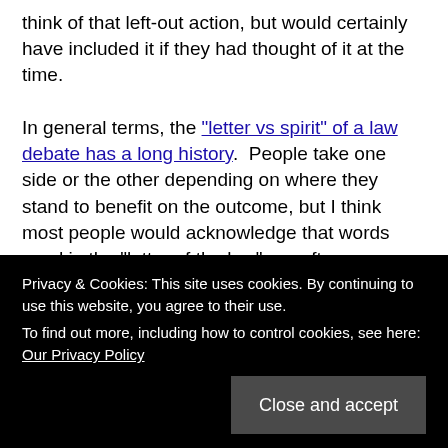think of that left-out action, but would certainly have included it if they had thought of it at the time.

In general terms, the "letter vs spirit" of a law debate has a long history. People take one side or the other depending on where they stand to benefit on the outcome, but I think most people would acknowledge that words used in the "letter of the law" are often incapable of expressing the full intent of those who enacted it, and therefore are willing to accept "the spirit of the law" in many cases. In the legal realm, we need judges and juries to help draw the line between letter and spirit in specific cases (although in the case of the current Presidency I think the US public and/or t... b... sure it does, or if it does, it might not be what that
Privacy & Cookies: This site uses cookies. By continuing to use this website, you agree to their use. To find out more, including how to control cookies, see here: Our Privacy Policy